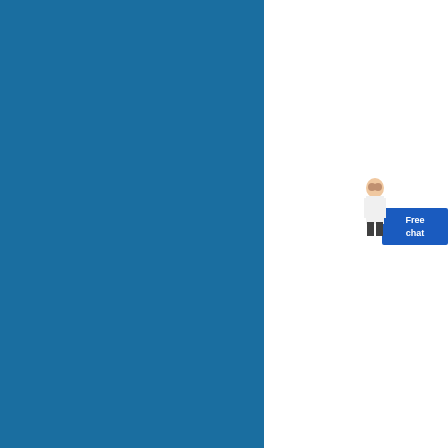[Figure (other): Blue sidebar panel on the left side of the page]
[Figure (photo): Mining conveyor belt and processing equipment in yellow and industrial machinery]
Mining and Co...
Zenith Mining an... and a well know...
[Figure (photo): Earthmoving and crusher machinery at quarry site with excavator]
Crushers man...
Crushing Produ... Crusher, Zenith c...
[Figure (photo): Yellow crushers and conveyor equipment at outdoor mining site under blue sky]
Crush...p...m...
Zenith is a profe... beneficiation equ...
[Figure (photo): Underground or indoor industrial conveyor belt system with cross-beam structures]
World News -
Tamil Nadu: Dea...
[Figure (photo): Quarry hillside with white stone and machinery at base]
CGM quarry c...
Stationary Crush... plant, include pri...